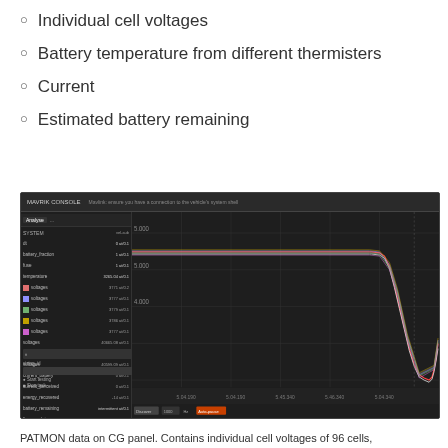Individual cell voltages
Battery temperature from different thermisters
Current
Estimated battery remaining
[Figure (screenshot): MAVRIK Console software screenshot showing battery monitoring interface with sidebar listing parameters (battery_fraction, current, temperature, voltages for multiple cells, current_battery, current_perceived, energy_recovered, battery_remaining, total_remaining, fizzyup_data) and a time-series chart showing cell voltage data over approximately 25 minutes. The chart shows stable voltage lines that drop sharply near the end of the recording period, with red and white lines visible.]
PATMON data on CG panel. Contains individual cell voltages of 96 cells,